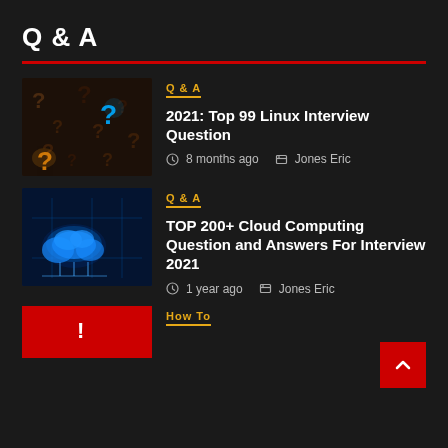Q & A
[Figure (photo): Dark background with question mark symbols, one glowing blue and one orange/yellow, for Linux Interview Question article thumbnail]
Q & A
2021: Top 99 Linux Interview Question
8 months ago   Jones Eric
[Figure (photo): Blue glowing cloud computing diagram on dark blue background for Cloud Computing article thumbnail]
Q & A
TOP 200+ Cloud Computing Question and Answers For Interview 2021
1 year ago   Jones Eric
[Figure (photo): Red thumbnail for How To category article]
How To